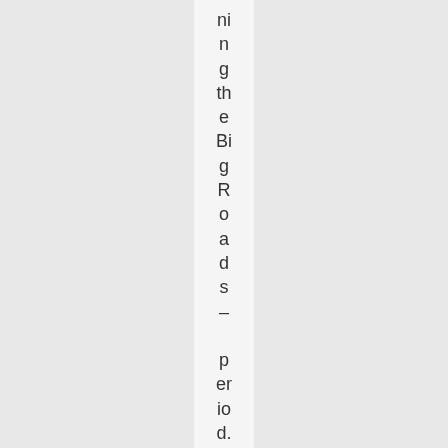ning the Big Roads – period. Any opportunity